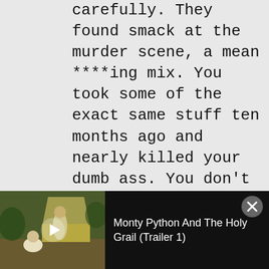carefully. They found smack at the murder scene, a mean ****ing mix. You took some of the exact same stuff ten months ago and nearly killed your dumb ass. You don't have the chemistry or the sense God gave goats which means you didn't do the cook. Now Dowd is dead, so who sold to you?
[Oak has just caught Tellis questioning...
View Quote
This website uses cookies
We use cookies to be able to provide social media features, analyse our traffic and behaviour of the visitors on our website and for...
Monty Python And The Holy Grail (Trailer 1)